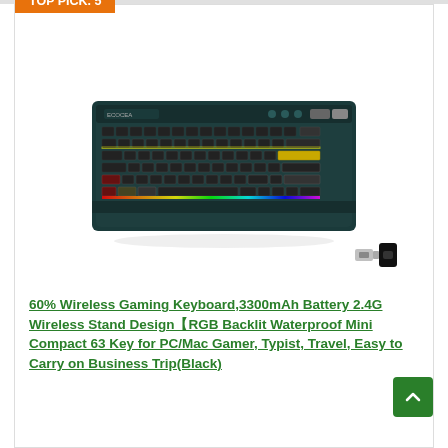TOP PICK. 5
[Figure (photo): Photo of a 60% wireless gaming keyboard with RGB backlighting in dark teal/black color, with a USB dongle and USB-C adapter shown in the lower right]
60% Wireless Gaming Keyboard,3300mAh Battery 2.4G Wireless Stand Design【RGB Backlit Waterproof Mini Compact 63 Key for PC/Mac Gamer, Typist, Travel, Easy to Carry on Business Trip(Black)